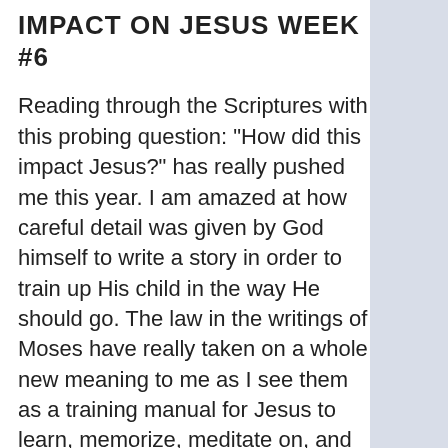IMPACT ON JESUS WEEK #6
Reading through the Scriptures with this probing question: "How did this impact Jesus?" has really pushed me this year. I am amazed at how careful detail was given by God himself to write a story in order to train up His child in the way He should go. The law in the writings of Moses have really taken on a whole new meaning to me as I see them as a training manual for Jesus to learn, memorize, meditate on, and then implement in His life.